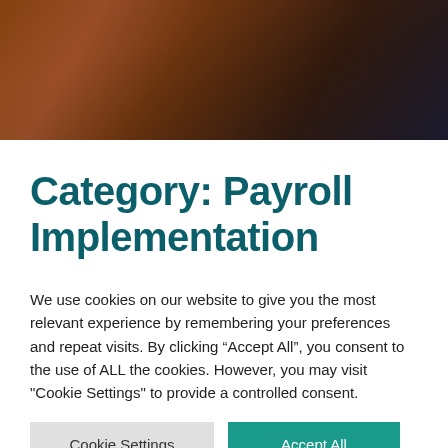[Figure (photo): Dark-toned close-up photo banner, warm brownish tones, appears to be a blurred background image]
Category: Payroll Implementation
We use cookies on our website to give you the most relevant experience by remembering your preferences and repeat visits. By clicking “Accept All”, you consent to the use of ALL the cookies. However, you may visit "Cookie Settings" to provide a controlled consent.
Cookie Settings | Accept All